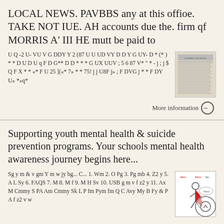LOCAL NEWS. PAVBBS any at this offioe. TAKE NOT IUE. AH accounts due the. firm qf MORRIS A' III HE mutt be paid to
U Q -2 U- VU V G DDY Y 2 (87 U U UD VY D D Y G UY- D * (* ) * * D U D U q F D G** D D * * * G UX UUV ; 5 6 87 V* " * - j ; j $ Q F X * * «* F U 25 ](«* 7» * * 75! j j U8F j» ; F DVG j * * F DY U» *»q*
More information
Supporting youth mental health & suicide prevention programs. Your schools mental health awareness journey begins here...
Sg y m & v gm Y m w jy bg... C... 1. Wm 2. O Pg 3. Pg mb 4. Z2 y 5. A L Sy 6. FAQS 7. M 8. M f 9. M H Sv 10. USB g m v f z2 y 11. Ax M Cmmy S PA Am Cmmy Sk L P fm Pym fm Q C Avy My B Fy & P A f z2 v w